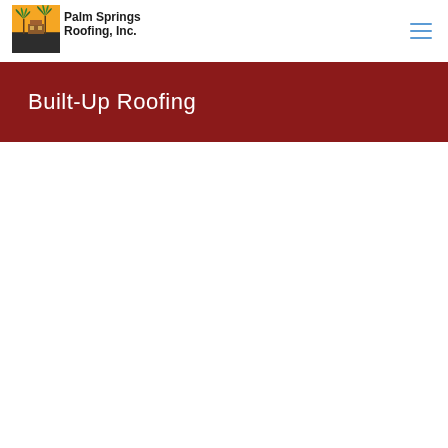[Figure (logo): Palm Springs Roofing, Inc. logo with palm trees graphic and company name text]
Built-Up Roofing